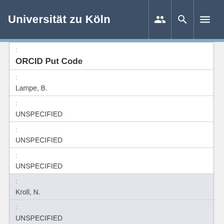Universität zu Köln
| : | ORCID Put Code |
| : | Lampe, B. |
| : | UNSPECIFIED |
| : | UNSPECIFIED |
| : | UNSPECIFIED |
| : | Kroll, N. |
| : | UNSPECIFIED |
| : |